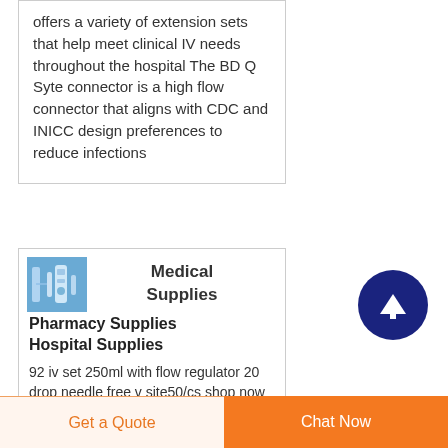offers a variety of extension sets that help meet clinical IV needs throughout the hospital The BD Q Syte connector is a high flow connector that aligns with CDC and INICC design preferences to reduce infections
[Figure (photo): Small product thumbnail image of medical IV supplies in blue tones]
Medical Supplies
Pharmacy Supplies
Hospital Supplies
92 iv set 250ml with flow regulator 20 drop needle free v site50/cs shop now item
[Figure (other): Dark navy blue circular scroll-to-top button with white upward arrow]
Get a Quote  |  Chat Now